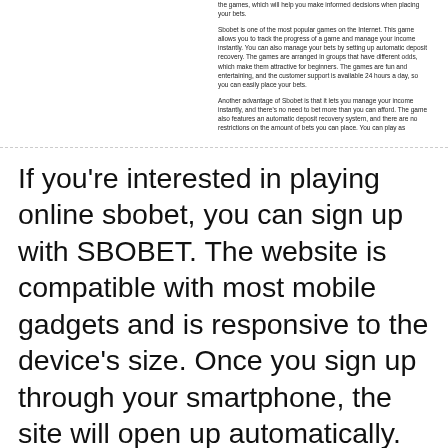the games, which will help you make informed decisions when placing your bets.

Sbobet is one of the most popular games on the Internet. This game allows you to track the progress of a game and manage your income instantly. You can also manage your bets by setting up automatic deposit recovery. The games are arranged in groups that have different odds, which make them attractive for beginners. The games are fun and entertaining, and the customer support is available 24 hours a day, so you can easily place your bets.

Another advantage of Sbobet is that it lets you manage your income instantly, and there's no need to bet more than you can afford. The game also features an automatic deposit recovery system, and there are no restrictions on the amount of bets you can place. You can play as
If you're interested in playing online sbobet, you can sign up with SBOBET. The website is compatible with most mobile gadgets and is responsive to the device's size. Once you sign up through your smartphone, the site will open up automatically. After you have chosen a username and password, you'll be asked to enter your account information. The process is similar to creating an account on a computer, but if you prefer to use your smartphone, Sbobet also has apps for iOS and Android. Once you've signed up with Sbobet, you'll need to sign in with the same